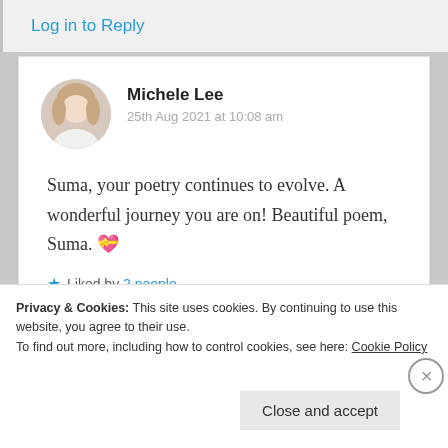Log in to Reply
Michele Lee
25th Aug 2021 at 10:08 am
Suma, your poetry continues to evolve. A wonderful journey you are on! Beautiful poem, Suma. 💝
★ Liked by 2 people
Log in to Reply
Privacy & Cookies: This site uses cookies. By continuing to use this website, you agree to their use.
To find out more, including how to control cookies, see here: Cookie Policy
Close and accept